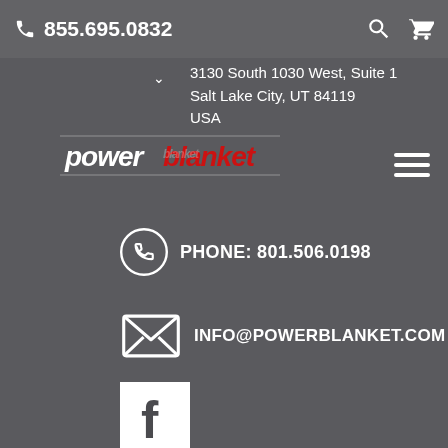855.695.0832
3130 South 1030 West, Suite 1
Salt Lake City, UT 84119
USA
[Figure (logo): Powerblanket logo with stylized text in white and red]
PHONE: 801.506.0198
INFO@POWERBLANKET.COM
[Figure (illustration): Facebook social media icon - white F on dark background]